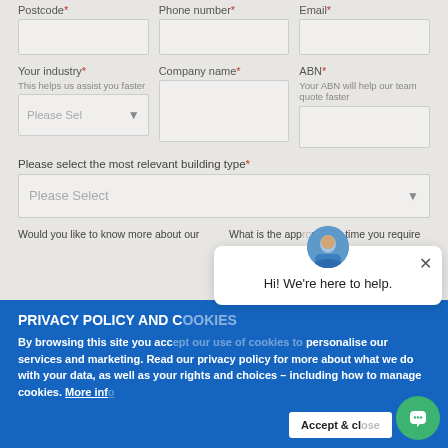Postcode*
Phone number*
Email*
Your industry*
This helps us assist you faster
Company name*
ABN*
Your ABN will help our team quote faster
Please select the most relevant building type*
Would you like to know more about our
What is the approximate time you require
PRIVACY POLICY AND C
By browsing this site you accept our use of cookies to personalise our services and marketing. Read our privacy policy for more about what we do with your data, as well as your rights and choices – including how to manage cookies. More info
Hi! We're here to help.